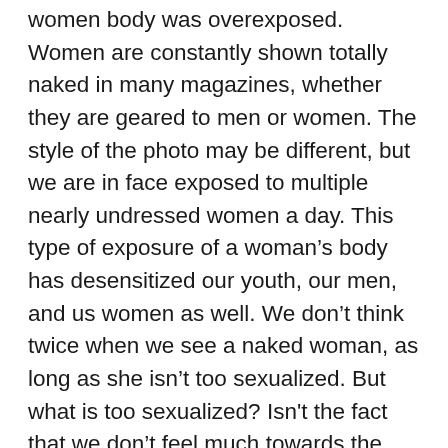women body was overexposed. Women are constantly shown totally naked in many magazines, whether they are geared to men or women. The style of the photo may be different, but we are in face exposed to multiple nearly undressed women a day. This type of exposure of a woman's body has desensitized our youth, our men, and us women as well. We don't think twice when we see a naked woman, as long as she isn't too sexualized. But what is too sexualized? Isn't the fact that we don't feel much towards the naked figure enough? Women's bodies are used to sell products and services. It is a shame and it has taught men and women to objectify women everywhere, whether they realize it or not.